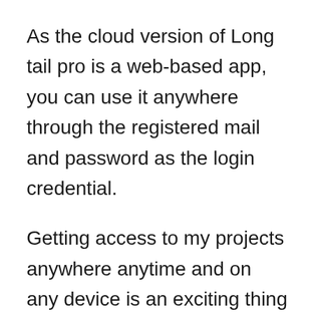As the cloud version of Long tail pro is a web-based app, you can use it anywhere through the registered mail and password as the login credential.
Getting access to my projects anywhere anytime and on any device is an exciting thing that I mostly enjoy.
So, you don't need to rely on your home PC anymore; grab the long tail